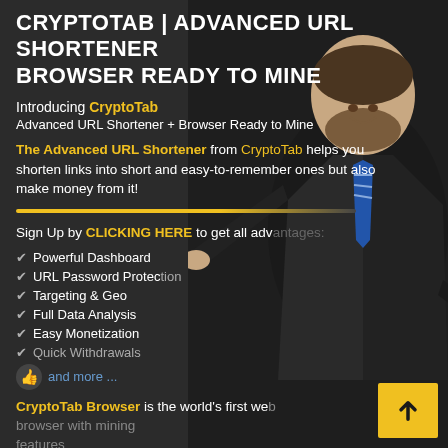CRYPTOTAB | ADVANCED URL SHORTENER BROWSER READY TO MINE
Introducing CryptoTab
Advanced URL Shortener + Browser Ready to Mine
The Advanced URL Shortener from CryptoTab helps you shorten links into short and easy-to-remember ones but also make money from it!
Sign Up by CLICKING HERE to get all advantages:
Powerful Dashboard
URL Password Protection
Targeting & Geo
Full Data Analysis
Easy Monetization
Quick Withdrawals
and more ...
CryptoTab Browser is the world's first web browser with mining features
[Figure (photo): Man in black suit and blue striped tie pointing toward the content, smiling]